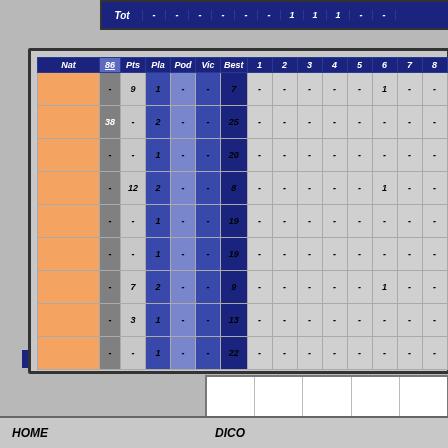| Nat | 86 | Pts | Pla | Pod | Vic | Best | 1 | 2 | 3 | 4 | 5 | 6 | 7 | 8 | 9 | 10 | 11 | 12 | 13 | 14 |
| --- | --- | --- | --- | --- | --- | --- | --- | --- | --- | --- | --- | --- | --- | --- | --- | --- | --- | --- | --- | --- |
|  | - | 9 | 1 | - | - | 7 | - | - | - | - | - | 1 | - | - | - | - | - | - | - |
|  | 38 | - | 2 | - | - | 25 | - | - | - | - | - | - | - | - | - | - | - | - | - |
|  | - | - | 1 | - | - | 20 | - | - | - | - | - | - | - | - | - | - | - | - | - |
|  | - | 12 | 2 | - | - | 8 | - | - | - | - | - | 1 | - | - | - | 1 | - | - | - |
|  | - | - | 1 | - | - | 19 | - | - | - | - | - | - | - | - | - | - | - | - | - |
|  | - | - | 1 | - | - | 19 | - | - | - | - | - | - | - | - | - | - | - | - | - |
|  | - | 7 | 2 | - | - | 9 | - | - | - | - | - | 1 | - | - | - | - | - | - | - |
|  | - | 3 | 1 | - | - | 13 | - | - | - | - | - | - | - | - | - | - | 1 | - | - |
|  | - | - | 1 | - | - | 22 | - | - | - | - | - | - | - | - | - | - | - | - | - |
HOME    DICO